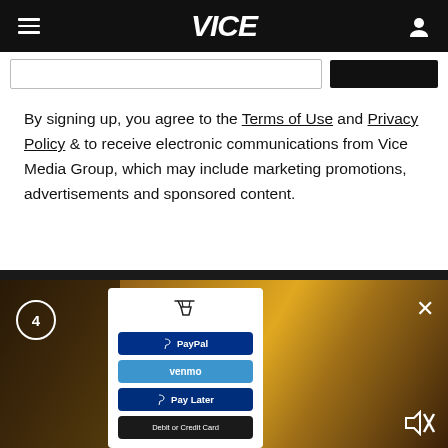VICE
By signing up, you agree to the Terms of Use and Privacy Policy & to receive electronic communications from Vice Media Group, which may include marketing promotions, advertisements and sponsored content.
[Figure (screenshot): Video advertisement overlay at bottom of page showing a woman in a yellow sweater smiling and holding a phone, with a PayPal payment popup showing options: PayPal, Venmo, Pay Later, Debit or Credit Card. A countdown circle with number 4 is visible at bottom left and a close X button at top right of the ad.]